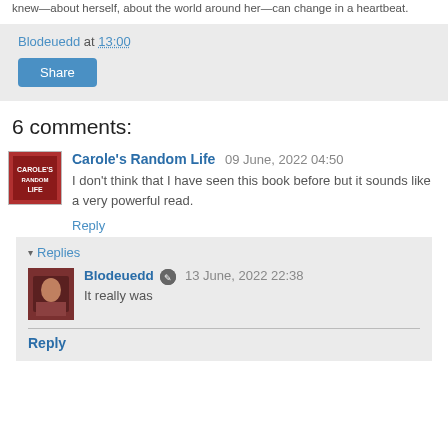knew—about herself, about the world around her—can change in a heartbeat.
Blodeuedd at 13:00
Share
6 comments:
Carole's Random Life  09 June, 2022 04:50
I don't think that I have seen this book before but it sounds like a very powerful read.
Reply
▾ Replies
Blodeuedd  13 June, 2022 22:38
It really was
Reply